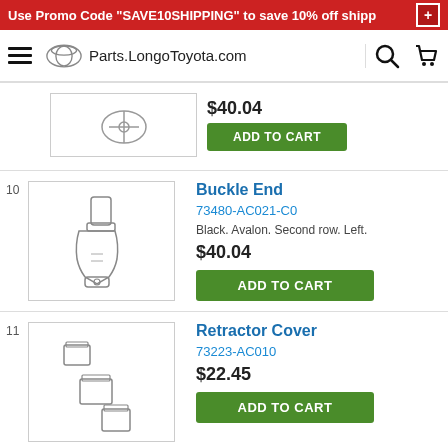Use Promo Code "SAVE10SHIPPING" to save 10% off shipp
Parts.LongoToyota.com
[Figure (illustration): Partial view of a Toyota part image (seatbelt buckle), cut off at top]
$40.04
ADD TO CART
Buckle End
73480-AC021-C0
Black. Avalon. Second row. Left.
$40.04
ADD TO CART
Retractor Cover
73223-AC010
$22.45
ADD TO CART